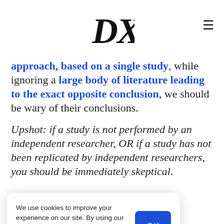DXE logo and hamburger menu
approach, based on a single study, while ignoring a large body of literature leading to the exact opposite conclusion, we should be wary of their conclusions.
Upshot: if a study is not performed by an independent researcher, OR if a study has not been replicated by independent researchers, you should be immediately skeptical.
[Figure (screenshot): Cookie consent banner with text 'We use cookies to improve your experience on our site. By using our site, you agree to our Privacy Policy.' and an OK button]
t has not seen nearly us would like.
Temporary blips in meat consumption are